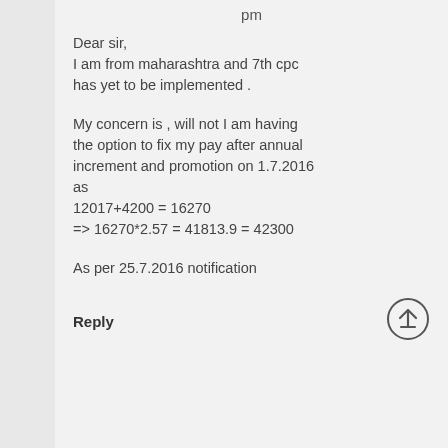pm
Dear sir,
I am from maharashtra and 7th cpc has yet to be implemented .
My concern is , will not I am having the option to fix my pay after annual increment and promotion on 1.7.2016 as
12017+4200 = 16270
=> 16270*2.57 = 41813.9 = 42300
As per 25.7.2016 notification
Reply